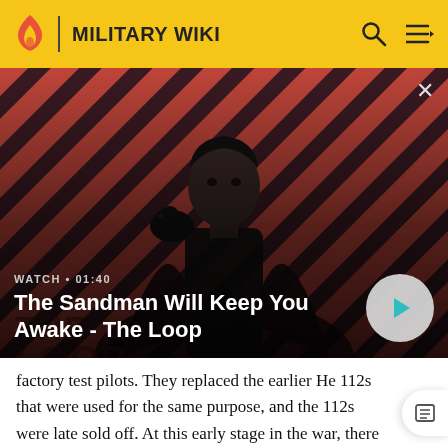MILITARY WIKI
[Figure (photo): Video thumbnail promotional image for 'The Sandman Will Keep You Awake - The Loop', showing a man in dark clothing with a raven on his shoulder against a red and dark diagonal striped background. Includes play button overlay and WATCH • 01:40 label.]
WATCH • 01:40
The Sandman Will Keep You Awake - The Loop
factory test pilots. They replaced the earlier He 112s that were used for the same purpose, and the 112s were late sold off. At this early stage in the war, there were no bombers venturing that far into Germany, and it appears that the unit never saw action. The eventual fate of the